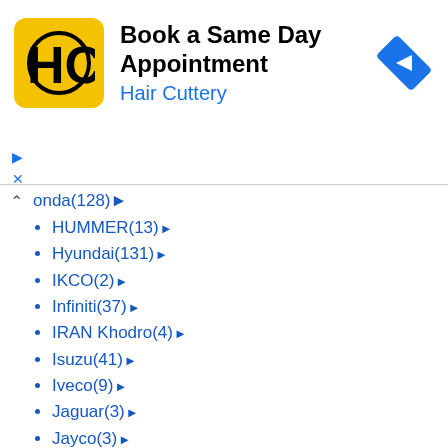[Figure (infographic): Hair Cuttery advertisement banner with yellow HC logo, text 'Book a Same Day Appointment' and 'Hair Cuttery', and a blue navigation icon on the right]
Honda(128) ▶
HUMMER(13) ▶
Hyundai(131) ▶
IKCO(2) ▶
Infiniti(37) ▶
IRAN Khodro(4) ▶
Isuzu(41) ▶
Iveco(9) ▶
Jaguar(3) ▶
Jayco(3) ▶
JCB(3) ▶
Jeep(59) ▶
Kia(125) ▶
Komatsu(6) ▶
Kubota(17) ▶